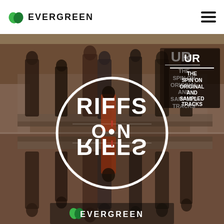EVERGREEN
[Figure (photo): Riffs on Riffs podcast/show cover art. A vintage photo of a group of Black musicians/people from the 1970s arranged in a mirrored composition (top half normal, bottom half reflected/upside-down). A large circle in the center contains the text 'RIFFS O•N RIFFS' with the bottom text mirrored/inverted. In the upper right corner is a logo and text reading 'THE SPIN ON ORIGINAL AND SAMPLED TRACKS'. At the bottom is the Evergreen logo and wordmark. The overall color palette is warm browns, reds, and earthy tones.]